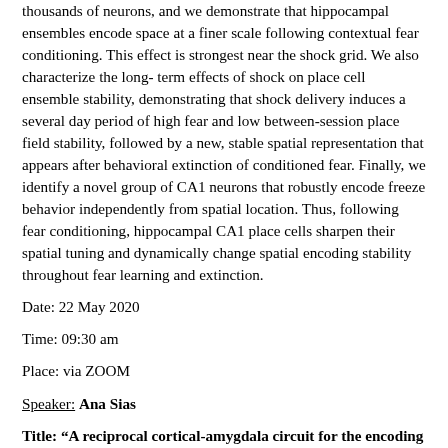thousands of neurons, and we demonstrate that hippocampal ensembles encode space at a finer scale following contextual fear conditioning. This effect is strongest near the shock grid. We also characterize the long- term effects of shock on place cell ensemble stability, demonstrating that shock delivery induces a several day period of high fear and low between-session place field stability, followed by a new, stable spatial representation that appears after behavioral extinction of conditioned fear. Finally, we identify a novel group of CA1 neurons that robustly encode freeze behavior independently from spatial location. Thus, following fear conditioning, hippocampal CA1 place cells sharpen their spatial tuning and dynamically change spatial encoding stability throughout fear learning and extinction.
Date: 22 May 2020
Time: 09:30 am
Place: via ZOOM
Speaker: Ana Sias
Title: “A reciprocal cortical-amygdala circuit for the encoding and retrieval of detailed associative reward memories”